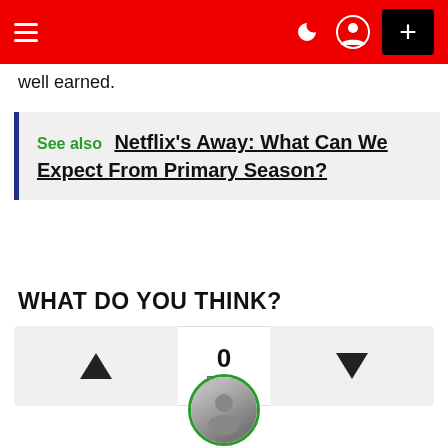Navigation bar with hamburger menu, dark mode, user icon, and plus button
well earned.
See also  Netflix's Away: What Can We Expect From Primary Season?
WHAT DO YOU THINK?
0 Points
[Figure (other): Circular avatar photo of a person]